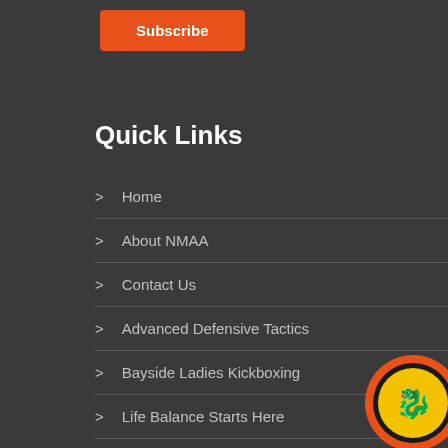Subscribe
Quick Links
Home
About NMAA
Contact Us
Advanced Defensive Tactics
Bayside Ladies Kickboxing
Life Balance Starts Here
Terms & Conditions – Martial Arts
Terms of Service – Website
[Figure (logo): Circular logo with orange/red outer ring and black dragon on yellow background]